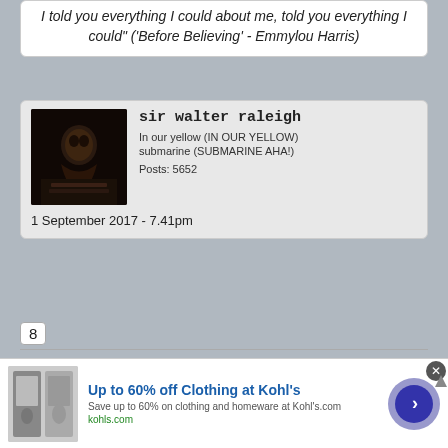I told you everything I could about me, told you everything I could" ('Before Believing' - Emmylou Harris)
sir walter raleigh
[Figure (photo): Dark silhouette avatar photo of a person at a piano or keyboard]
In our yellow (IN OUR YELLOW) submarine (SUBMARINE AHA!) Posts: 5652
1 September 2017 - 7.41pm
8
Its from a collection of demos from Tittenhurst Park.
Up to 60% off Clothing at Kohl's
Save up to 60% on clothing and homeware at Kohl's.com
kohls.com